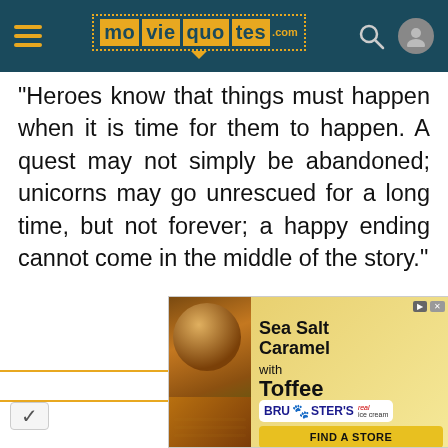moviequotes.com navigation header
“Heroes know that things must happen when it is time for them to happen. A quest may not simply be abandoned; unicorns may go unrescued for a long time, but not forever; a happy ending cannot come in the middle of the story.”
JEFF BRIDGES - Prince Lir
[Figure (screenshot): Bruster's Real Ice Cream advertisement: Sea Salt Caramel with Toffee, with ice cream and waffle cone photo, FIND A STORE button]